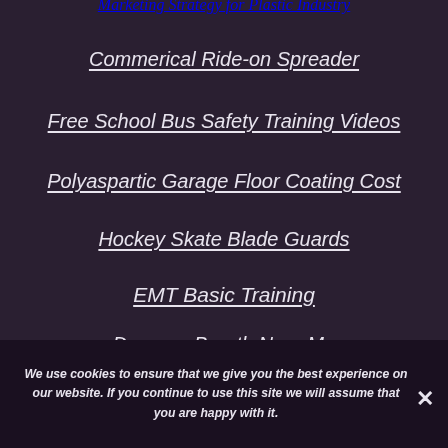Marketing Strategy for Plastic Industry
Commerical Ride-on Spreader
Free School Bus Safety Training Videos
Polyaspartic Garage Floor Coating Cost
Hockey Skate Blade Guards
EMT Basic Training
Dragons Breath Near Me
Dermal Fillers Near Me
We use cookies to ensure that we give you the best experience on our website. If you continue to use this site we will assume that you are happy with it.